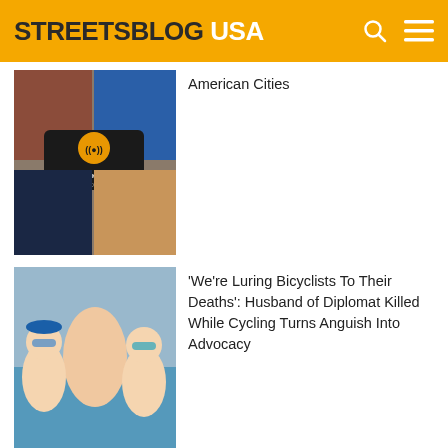STREETSBLOG USA
[Figure (photo): Collage of city transportation images including a transit bus, podcast graphic 'Talking Headways', city skyline, and row houses]
American Cities
[Figure (photo): Family photo of woman with two young boys in swimwear and goggles by a pool]
'We're Luring Bicyclists To Their Deaths': Husband of Diplomat Killed While Cycling Turns Anguish Into Advocacy
Comments
Community
Login
Favorite
Sort by Newest
Start the discussion...